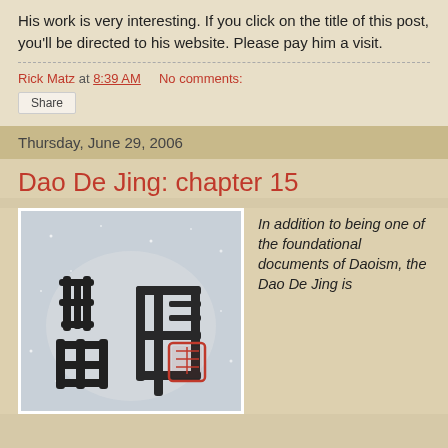His work is very interesting. If you click on the title of this post, you'll be directed to his website. Please pay him a visit.
Rick Matz at 8:39 AM   No comments:
Share
Thursday, June 29, 2006
Dao De Jing: chapter 15
[Figure (illustration): Chinese calligraphy artwork showing large black brushstroke characters on a light grey background with a red seal stamp]
In addition to being one of the foundational documents of Daoism, the Dao De Jing is